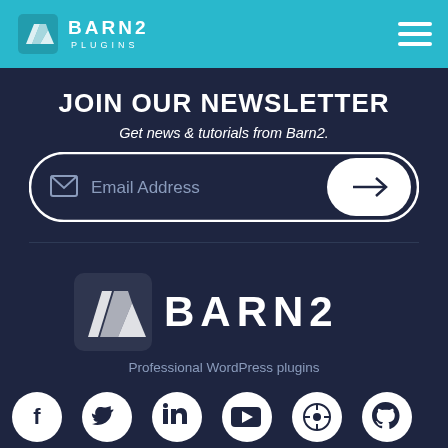[Figure (logo): Barn2 Plugins logo with teal background header bar and hamburger menu icon]
JOIN OUR NEWSLETTER
Get news & tutorials from Barn2.
[Figure (screenshot): Email address input field with envelope icon and white rounded arrow submit button]
[Figure (logo): Barn2 large footer logo with shield/diamond icon and text, tagline: Professional WordPress plugins]
Professional WordPress plugins
[Figure (infographic): Row of 6 white circular social media icons: Facebook, Twitter, LinkedIn, YouTube, WordPress, GitHub]